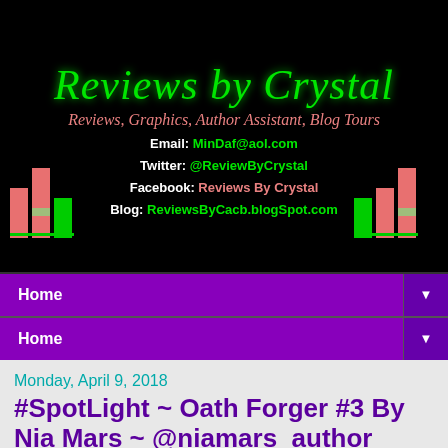[Figure (logo): Reviews by Crystal blog header with site title in green cursive on black background, tagline, contact info, and decorative bar chart graphics on left and right]
Home ▼
Home ▼
Monday, April 9, 2018
#SpotLight ~ Oath Forger #3 By Nia Mars ~ @niamars_author
[Figure (illustration): Reviews by Crystal Presents - The Oath Forger Series By Nia Mars book banner with fantasy book covers on dark blue background]